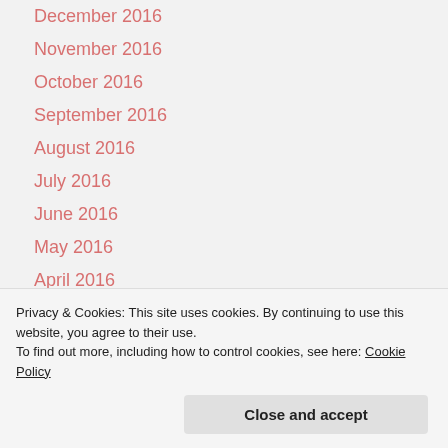December 2016
November 2016
October 2016
September 2016
August 2016
July 2016
June 2016
May 2016
April 2016
March 2016
February 2016
Privacy & Cookies: This site uses cookies. By continuing to use this website, you agree to their use.
To find out more, including how to control cookies, see here: Cookie Policy
Close and accept